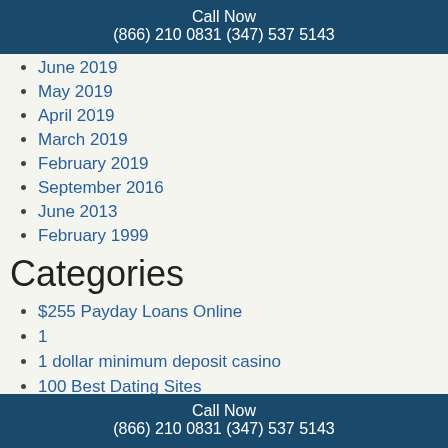Call Now
(866) 210 0831 (347) 537 5143
June 2019
May 2019
April 2019
March 2019
February 2019
September 2016
June 2013
February 1999
Categories
$255 Payday Loans Online
1
1 dollar minimum deposit casino
100 Best Dating Sites
100 free hookup
Call Now
(866) 210 0831 (347) 537 5143